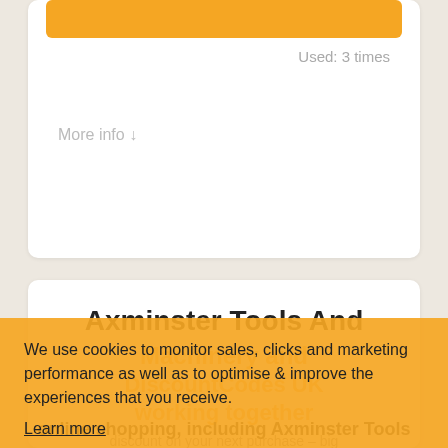Used: 3 times
More info ↓
Axminster Tools And
Machinery and
DiscountCodes UK
working together
discount on your next purchase – big or small – right here with
DiscountCodes.co.uk. We are proud to work with some of the biggest names in
online shopping, including Axminster Tools
We use cookies to monitor sales, clicks and marketing performance as well as to optimise & improve the experiences that you receive.
Learn more
GOT IT!